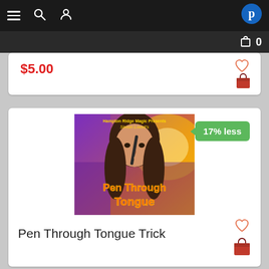[Figure (screenshot): Mobile app navigation bar with hamburger menu, search icon, user icon on dark background, and a blue Pensano logo icon on the right]
$5.00
17% less
[Figure (photo): Product image for Pen Through Tongue Trick showing a young woman appearing to push a pen through her tongue, with colorful purple and orange background. Text on image reads: Hampton Ridge Magic Presents Simon Lovell's Pen Through Tongue]
Pen Through Tongue Trick
$10.00  1